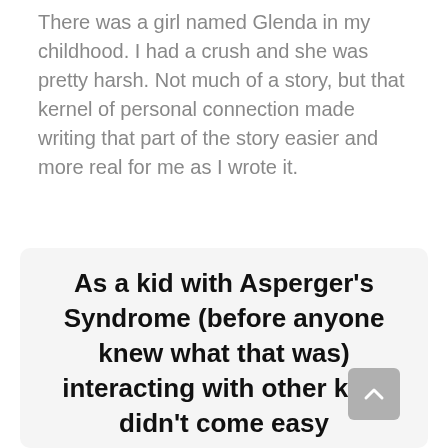There was a girl named Glenda in my childhood. I had a crush and she was pretty harsh. Not much of a story, but that kernel of personal connection made writing that part of the story easier and more real for me as I wrote it.
As a kid with Asperger's Syndrome (before anyone knew what that was) interacting with other kids didn't come easy